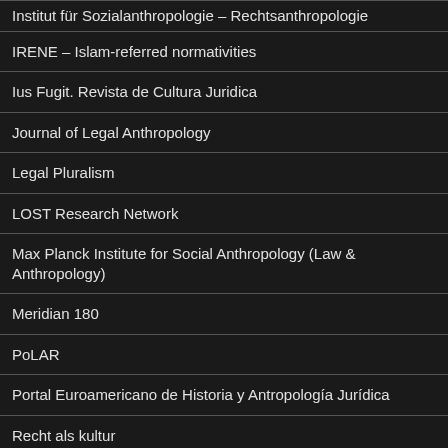Institut für Sozialanthropologie – Rechtsanthropologie
IRENE – Islam-referred normativities
Ius Fugit. Revista de Cultura Juridica
Journal of Legal Anthropology
Legal Pluralism
LOST Research Network
Max Planck Institute for Social Anthropology (Law & Anthropology)
Meridian 180
PoLAR
Portal Euroamericano de Historia y Antropología Jurídica
Recht als kultur
Sogip